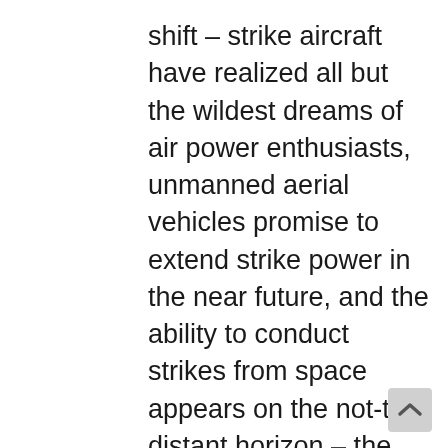shift – strike aircraft have realized all but the wildest dreams of air power enthusiasts, unmanned aerial vehicles promise to extend strike power in the near future, and the ability to conduct strikes from space appears on the not-too-distant horizon – the need for ground maneuvers to achieve decisive political results endures. Regimes are difficult to change based upon punishment alone. If land forces are to survive and retain their unique strategic purpose in a world where it is increasingly easy to deliver firepower precisely at long ranges, they must change as well, becoming more stealthy, mobile, deployable and able to operate in a dispersed fashion. The U.S. Army, and American land forces more generally, must increasingly complement the strike capabilities of the other services. Conversely, an American